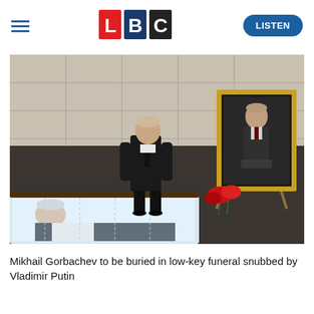LBC | LISTEN
[Figure (photo): A man in a dark suit stands bowing his head before an open coffin containing Mikhail Gorbachev, with a large framed portrait of Gorbachev on an easel to the right and red flowers visible, inside a hall with stone walls.]
Mikhail Gorbachev to be buried in low-key funeral snubbed by Vladimir Putin